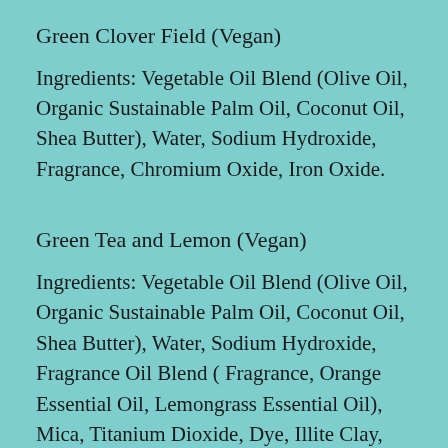Green Clover Field (Vegan)
Ingredients: Vegetable Oil Blend (Olive Oil, Organic Sustainable Palm Oil, Coconut Oil, Shea Butter), Water, Sodium Hydroxide, Fragrance, Chromium Oxide, Iron Oxide.
Green Tea and Lemon (Vegan)
Ingredients: Vegetable Oil Blend (Olive Oil, Organic Sustainable Palm Oil, Coconut Oil, Shea Butter), Water, Sodium Hydroxide, Fragrance Oil Blend ( Fragrance, Orange Essential Oil, Lemongrass Essential Oil), Mica, Titanium Dioxide, Dye, Illite Clay,